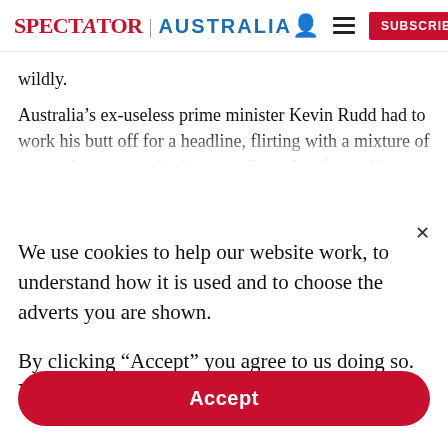SPECTATOR | AUSTRALIA
wildly.
Australia’s ex-useless prime minister Kevin Rudd had to work his butt off for a headline, flirting with a mixture of competing state and private media outlets for tepid
We use cookies to help our website work, to understand how it is used and to choose the adverts you are shown.
By clicking "Accept" you agree to us doing so. You can read more in our privacy policy.
Accept